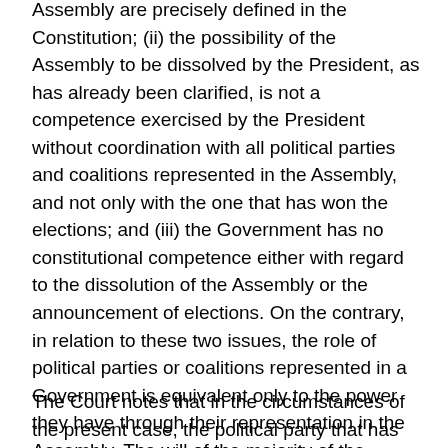Assembly are precisely defined in the Constitution; (ii) the possibility of the Assembly to be dissolved by the President, as has already been clarified, is not a competence exercised by the President without coordination with all political parties and coalitions represented in the Assembly, and not only with the one that has won the elections; and (iii) the Government has no constitutional competence either with regard to the dissolution of the Assembly or the announcement of elections. On the contrary, in relation to these two issues, the role of political parties or coalitions represented in a Government is equivalent only to the power they have through their representation in the Assembly. The will of the majority of the Assembly in the circumstances of the current case, has clearly made it impossible for the President to dissolve the Assembly and announce early elections.
The Court notes that in the circumstances of the present case, the political party that has led the Government